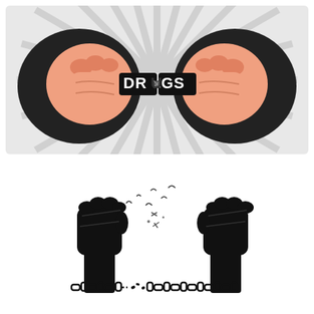[Figure (illustration): Illustration of two hands with dark sleeves pulling apart a chain link shaped like the word DRUGS, breaking it in the center. Radiating sunburst pattern in gray and white behind the hands.]
[Figure (illustration): Black and white illustration of two raised fists with wrists in broken chains, with small birds flying from the breaking point, symbolizing freedom from bondage.]